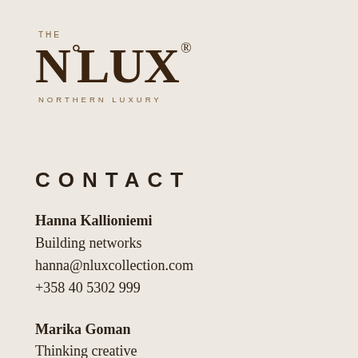[Figure (logo): THE N°LUX® NORTHERN LUXURY logo with large serif lettering in dark brown on cream background]
CONTACT
Hanna Kallioniemi
Building networks
hanna@nluxcollection.com
+358 40 5302 999
Marika Goman
Thinking creative
marika@nluxcollection.com
+358 400 512 133